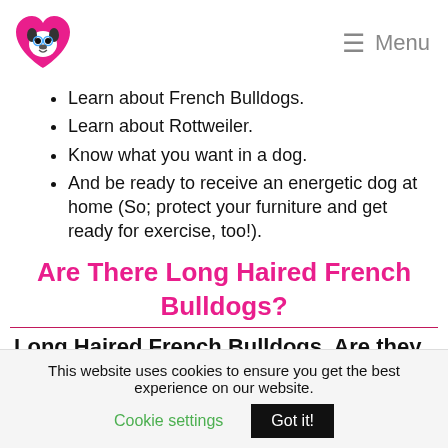Menu
Learn about French Bulldogs.
Learn about Rottweiler.
Know what you want in a dog.
And be ready to receive an energetic dog at home (So; protect your furniture and get ready for exercise, too!).
Are There Long Haired French Bulldogs?
Long Haired French Bulldogs. Are they
This website uses cookies to ensure you get the best experience on our website. Cookie settings  Got it!